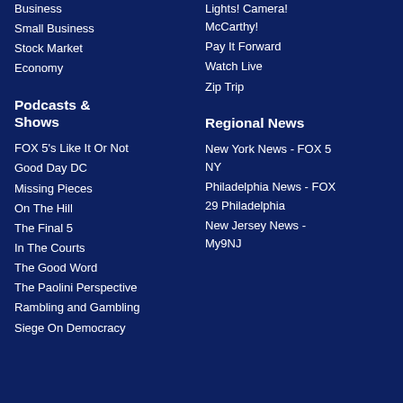Business
Small Business
Stock Market
Economy
Lights! Camera! McCarthy!
Pay It Forward
Watch Live
Zip Trip
Podcasts & Shows
FOX 5's Like It Or Not
Good Day DC
Missing Pieces
On The Hill
The Final 5
In The Courts
The Good Word
The Paolini Perspective
Rambling and Gambling
Siege On Democracy
Regional News
New York News - FOX 5 NY
Philadelphia News - FOX 29 Philadelphia
New Jersey News - My9NJ